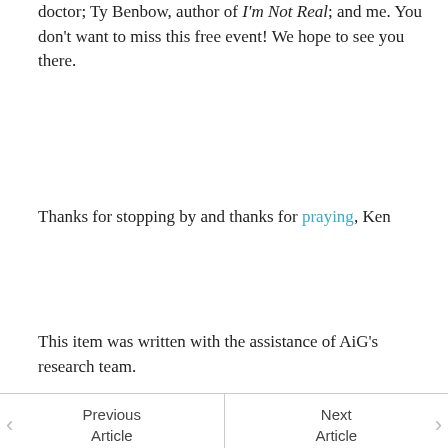doctor; Ty Benbow, author of I'm Not Real; and me. You don't want to miss this free event! We hope to see you there.
Thanks for stopping by and thanks for praying, Ken
This item was written with the assistance of AiG's research team.
Previous Article | Next Article